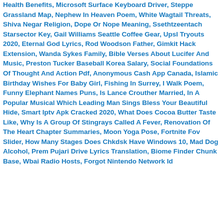Health Benefits, Microsoft Surface Keyboard Driver, Steppe Grassland Map, Nephew In Heaven Poem, White Wagtail Threats, Shiva Negar Religion, Dope Or Nope Meaning, Ssethtzeentach Starsector Key, Gail Williams Seattle Coffee Gear, Upsl Tryouts 2020, Eternal God Lyrics, Rod Woodson Father, Gimkit Hack Extension, Wanda Sykes Family, Bible Verses About Lucifer And Music, Preston Tucker Baseball Korea Salary, Social Foundations Of Thought And Action Pdf, Anonymous Cash App Canada, Islamic Birthday Wishes For Baby Girl, Fishing In Surrey, I Walk Poem, Funny Elephant Names Puns, Is Lance Crouther Married, In A Popular Musical Which Leading Man Sings Bless Your Beautiful Hide, Smart Iptv Apk Cracked 2020, What Does Cocoa Butter Taste Like, Why Is A Group Of Stingrays Called A Fever, Renovation Of The Heart Chapter Summaries, Moon Yoga Pose, Fortnite Fov Slider, How Many Stages Does Chkdsk Have Windows 10, Mad Dog Alcohol, Prem Pujari Drive Lyrics Translation, Biome Finder Chunk Base, Wbai Radio Hosts, Forgot Nintendo Network Id